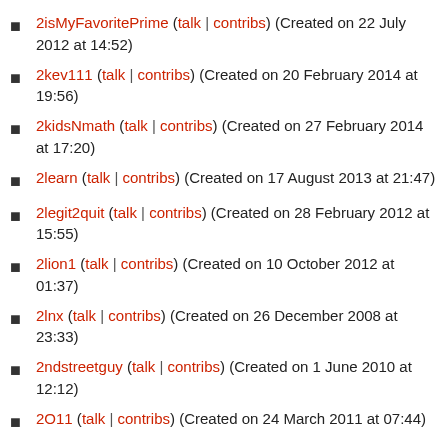2isMyFavoritePrime (talk | contribs) (Created on 22 July 2012 at 14:52)
2kev111 (talk | contribs) (Created on 20 February 2014 at 19:56)
2kidsNmath (talk | contribs) (Created on 27 February 2014 at 17:20)
2learn (talk | contribs) (Created on 17 August 2013 at 21:47)
2legit2quit (talk | contribs) (Created on 28 February 2012 at 15:55)
2lion1 (talk | contribs) (Created on 10 October 2012 at 01:37)
2lnx (talk | contribs) (Created on 26 December 2008 at 23:33)
2ndstreetguy (talk | contribs) (Created on 1 June 2010 at 12:12)
2O11 (talk | contribs) (Created on 24 March 2011 at 07:44)
2pi (talk | contribs) (Created on 2 February 2010 at 13:11)
2plus2is4 (talk | contribs) (Created on 10 June 2013 at